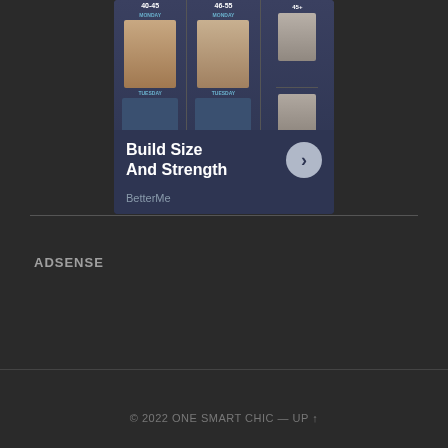[Figure (infographic): Advertisement card for BetterMe app showing fitness infographic with age groups 40-45, 46-55, and 45+ with workout figures, headline 'Build Size And Strength', CTA button, and BetterMe brand name]
ADSENSE
© 2022 ONE SMART CHIC — UP ↑